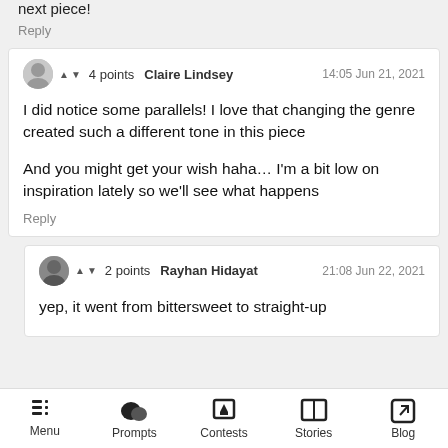next piece!
Reply
4 points  Claire Lindsey  14:05 Jun 21, 2021
I did notice some parallels! I love that changing the genre created such a different tone in this piece

And you might get your wish haha… I'm a bit low on inspiration lately so we'll see what happens
Reply
2 points  Rayhan Hidayat  21:08 Jun 22, 2021
yep, it went from bittersweet to straight-up
Menu  Prompts  Contests  Stories  Blog